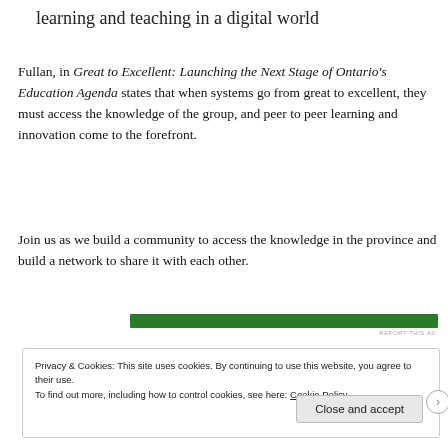learning and teaching in a digital world
Fullan, in Great to Excellent: Launching the Next Stage of Ontario's Education Agenda states that when systems go from great to excellent, they must access the knowledge of the group, and peer to peer learning and innovation come to the forefront.
Join us as we build a community to access the knowledge in the province and build a network to share it with each other.
[Figure (other): Green horizontal advertisement banner bar]
Privacy & Cookies: This site uses cookies. By continuing to use this website, you agree to their use.
To find out more, including how to control cookies, see here: Cookie Policy